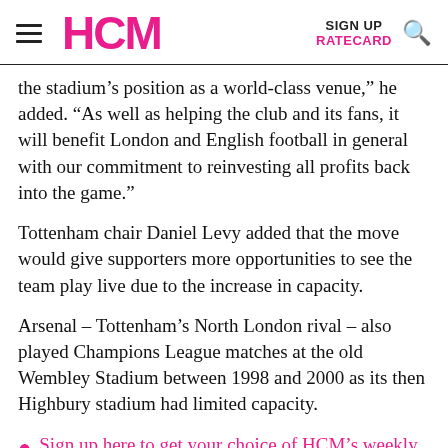HCM | SIGN UP | RATECARD
the stadium’s position as a world-class venue,” he added. “As well as helping the club and its fans, it will benefit London and English football in general with our commitment to reinvesting all profits back into the game.”
Tottenham chair Daniel Levy added that the move would give supporters more opportunities to see the team play live due to the increase in capacity.
Arsenal – Tottenham’s North London rival – also played Champions League matches at the old Wembley Stadium between 1998 and 2000 as its then Highbury stadium had limited capacity.
Sign up here to get your choice of HCM’s weekly ezine, breaking news alerts and every issue of HCM magazine